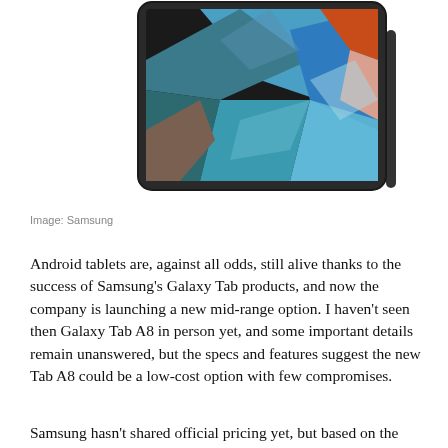[Figure (photo): Samsung Galaxy Tab A8 tablet shown at an angle, with a colorful abstract wallpaper on screen featuring blue, teal, orange, and pink brush strokes. The tablet has a dark/black bezel and frame.]
Image: Samsung
Android tablets are, against all odds, still alive thanks to the success of Samsung’s Galaxy Tab products, and now the company is launching a new mid-range option. I haven’t seen then Galaxy Tab A8 in person yet, and some important details remain unanswered, but the specs and features suggest the new Tab A8 could be a low-cost option with few compromises.
Samsung hasn’t shared official pricing yet, but based on the